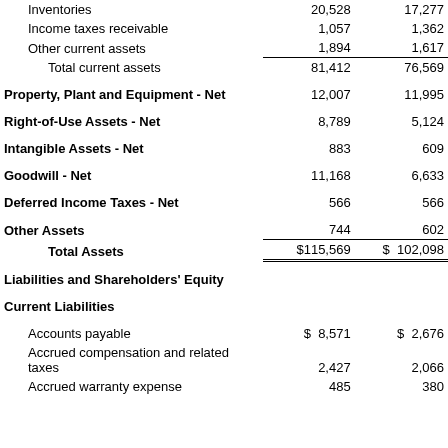|  | Col1 | Col2 |
| --- | --- | --- |
| Inventories | 20,528 | 17,277 |
| Income taxes receivable | 1,057 | 1,362 |
| Other current assets | 1,894 | 1,617 |
| Total current assets | 81,412 | 76,569 |
| Property, Plant and Equipment - Net | 12,007 | 11,995 |
| Right-of-Use Assets - Net | 8,789 | 5,124 |
| Intangible Assets - Net | 883 | 609 |
| Goodwill - Net | 11,168 | 6,633 |
| Deferred Income Taxes - Net | 566 | 566 |
| Other Assets | 744 | 602 |
| Total Assets | $115,569 | $ 102,098 |
| Liabilities and Shareholders' Equity |  |  |
| Current Liabilities |  |  |
| Accounts payable | $ 8,571 | $ 2,676 |
| Accrued compensation and related taxes | 2,427 | 2,066 |
| Accrued warranty expense | 485 | 380 |